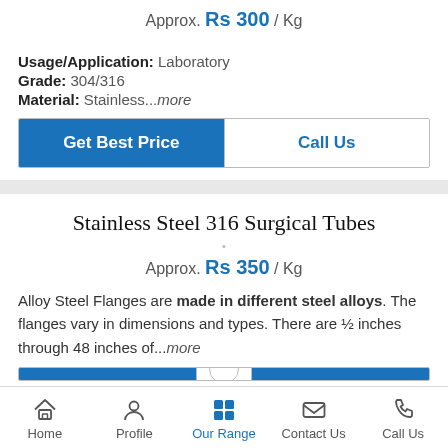Approx. Rs 300 / Kg
Usage/Application: Laboratory
Grade: 304/316
Material: Stainless...more
Get Best Price | Call Us
Stainless Steel 316 Surgical Tubes
Approx. Rs 350 / Kg
Alloy Steel Flanges are made in different steel alloys. The flanges vary in dimensions and types. There are ½ inches through 48 inches of...more
Home | Profile | Our Range | Contact Us | Call Us